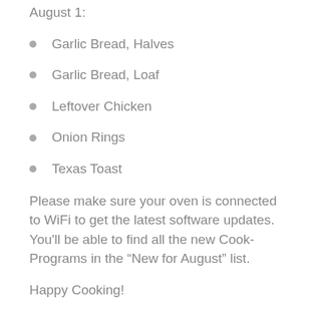August 1:
Garlic Bread, Halves
Garlic Bread, Loaf
Leftover Chicken
Onion Rings
Texas Toast
Please make sure your oven is connected to WiFi to get the latest software updates. You'll be able to find all the new Cook-Programs in the “New for August” list.
Happy Cooking!